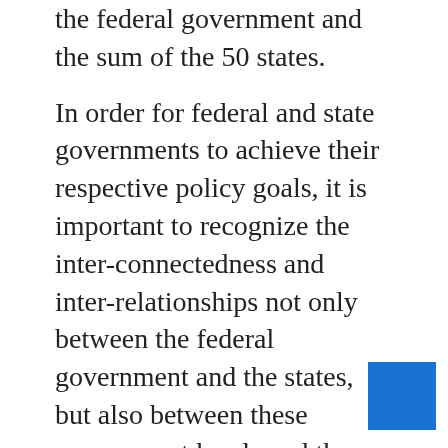the federal government and the sum of the 50 states.
In order for federal and state governments to achieve their respective policy goals, it is important to recognize the inter-connectedness and inter-relationships not only between the federal government and the states, but also between these government levels and the localities within each state: people may live in a suburb but work in a city; food crops grown in a rural county will feed families in urban centers across the country; and pollutants disposed in a river in one community will pollute the waters in other communities downstream. More often than not, policy challenges that at first glance